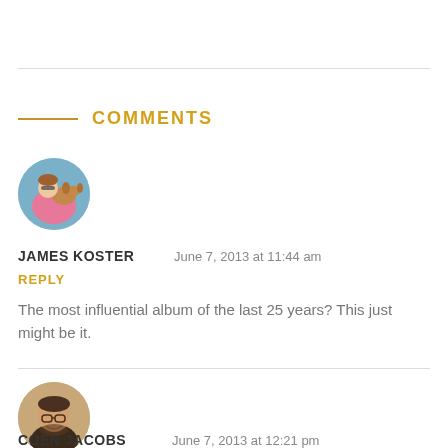COMMENTS
[Figure (photo): Circular avatar photo of James Koster, showing a person holding a dog outdoors, wearing a pink shirt]
JAMES KOSTER   June 7, 2013 at 11:44 am
REPLY
The most influential album of the last 25 years? This just might be it.
[Figure (photo): Circular avatar photo of Coen Jacobs, showing a man with glasses smiling outdoors]
COEN JACOBS   June 7, 2013 at 12:21 pm